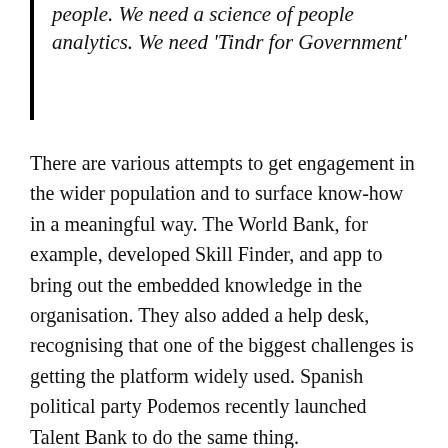people. We need a science of people analytics. We need 'Tindr for Government'
There are various attempts to get engagement in the wider population and to surface know-how in a meaningful way. The World Bank, for example, developed Skill Finder, and app to bring out the embedded knowledge in the organisation. They also added a help desk, recognising that one of the biggest challenges is getting the platform widely used. Spanish political party Podemos recently launched Talent Bank to do the same thing.
The key, says Novak, is to "re-envision the government's role as broker". We need